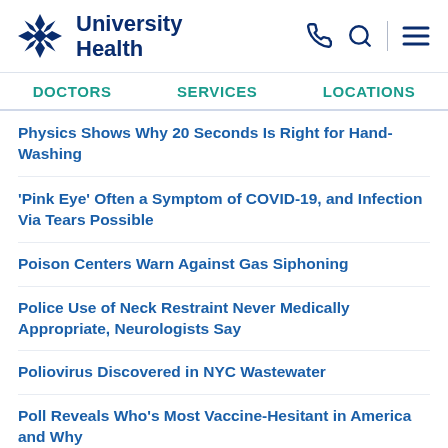University Health
DOCTORS
SERVICES
LOCATIONS
Physics Shows Why 20 Seconds Is Right for Hand-Washing
'Pink Eye' Often a Symptom of COVID-19, and Infection Via Tears Possible
Poison Centers Warn Against Gas Siphoning
Police Use of Neck Restraint Never Medically Appropriate, Neurologists Say
Poliovirus Discovered in NYC Wastewater
Poll Reveals Who's Most Vaccine-Hesitant in America and Why
Poll: 1 in 3 Parents Pick Holiday Gathering Over COVID Safety